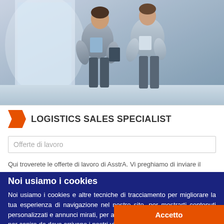[Figure (photo): Two professional women in business attire, one holding a tablet, having a meeting in a bright modern office environment]
LOGISTICS SALES SPECIALIST
Offerte di lavoro
Qui troverete le offerte di lavoro di AsstrA. Vi preghiamo di inviare il
Noi usiamo i cookies
Noi usiamo i cookies e altre tecniche di tracciamento per migliorare la tua esperienza di navigazione nel nostro sito, per mostrarti contenuti personalizzati e annunci mirati, per analizzare il traffico sul nostro sito, e per capire da dove arrivano i nostri visitatori.
Accetto